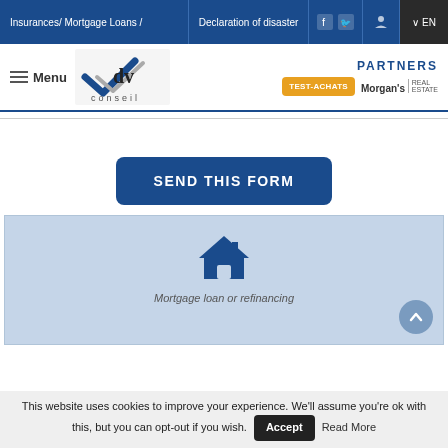Insurances / Mortgage Loans / | Declaration of disaster | EN
[Figure (logo): dv conseil logo with blue checkmark and 'conseil' text]
PARTNERS TEST-ACHATS Morgan's REAL ESTATE
SEND THIS FORM
[Figure (illustration): House icon in dark blue with label: Mortgage loan or refinancing]
Mortgage loan or refinancing
This website uses cookies to improve your experience. We'll assume you're ok with this, but you can opt-out if you wish. Accept Read More